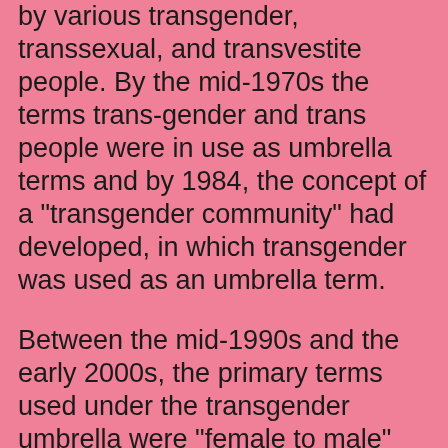by various transgender, transsexual, and transvestite people. By the mid-1970s the terms trans-gender and trans people were in use as umbrella terms and by 1984, the concept of a "transgender community" had developed, in which transgender was used as an umbrella term.
Between the mid-1990s and the early 2000s, the primary terms used under the transgender umbrella were "female to male" (FtM) for men who transitioned from female to male, and "male to female" (MtF) for women who transitioned from male to female. These terms have now been superseded by "trans man" and "trans woman", respectively, and the terms "trans-masculine" or "trans-feminine" are